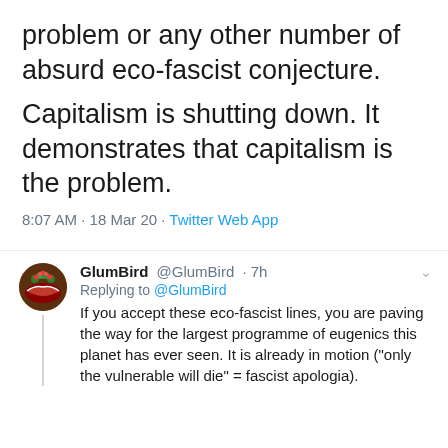problem or any other number of absurd eco-fascist conjecture.
Capitalism is shutting down. It demonstrates that capitalism is the problem.
8:07 AM · 18 Mar 20 · Twitter Web App
GlumBird @GlumBird · 7h
Replying to @GlumBird
If you accept these eco-fascist lines, you are paving the way for the largest programme of eugenics this planet has ever seen. It is already in motion ("only the vulnerable will die" = fascist apologia).